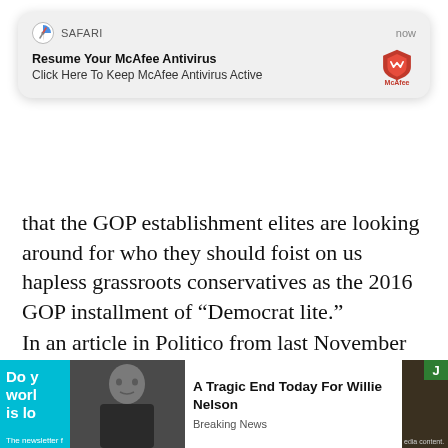[Figure (screenshot): Safari browser notification popup: 'Resume Your McAfee Antivirus - Click Here To Keep McAfee Antivirus Active' with McAfee shield logo icon, timestamped 'now']
that the GOP establishment elites are looking around for who they should foist on us hapless grassroots conservatives as the 2016 GOP installment of “Democrat lite.”
In an article in Politico from last November titled Jeb Bush 2016? Ben White wrote,
[Figure (screenshot): Bottom area with two overlapping ad/content widgets: a teal 'Do you/world/is loo...' ad on the left, a sponsored article card 'A Tragic End Today For Willie Nelson / Breaking News' with a photo of an elderly man, and a dark brown column on the right with a green badge.]